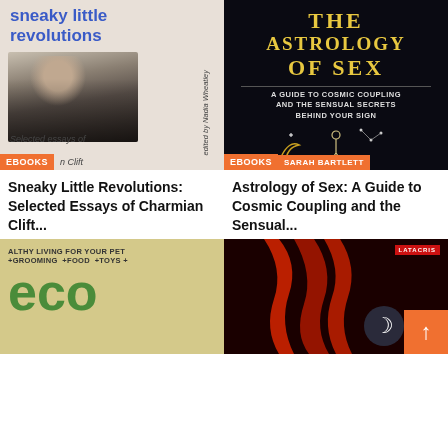[Figure (illustration): Book cover: 'sneaky little revolutions' in blue bold text on a cream background, with black-and-white photo of a woman, 'edited by Nadia Wheatley' in vertical text, 'Selected essays of' subtitle, and an EBOOKS badge.]
[Figure (illustration): Book cover: 'THE ASTROLOGY OF SEX' in gold bold text on black background, subtitle 'A GUIDE TO COSMIC COUPLING AND THE SENSUAL SECRETS BEHIND YOUR SIGN', astrology art figures, EBOOKS badge, and author name SARAH BARTLETT.]
Sneaky Little Revolutions: Selected Essays of Charmian Clift...
Astrology of Sex: A Guide to Cosmic Coupling and the Sensual...
[Figure (illustration): Partial book cover: 'ALTHY LIVING FOR YOUR PET +GROOMING +FOOD +TOYS +' green text on beige, large green 'eco' letters below.]
[Figure (illustration): Partial book cover: dark cover with red fabric/material, LATACRIS badge top right, with a moon/night-mode button and orange up-arrow scroll button overlaid.]